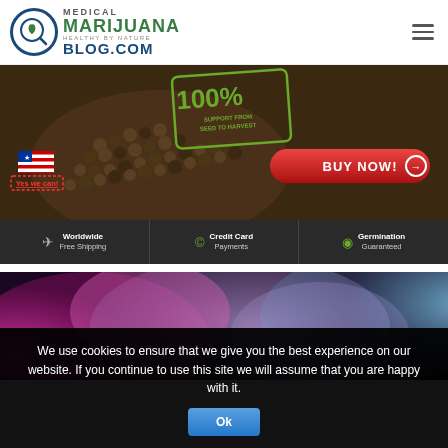[Figure (logo): Medical Marijuana Blog.com logo with cannabis leaf in blue circle]
[Figure (photo): Cannabis seeds pile advertisement banner with 100% Support From Seed To Harvest stamp, US flag, Yes we can! text, BUY NOW button, and feature bar showing Worldwide Free Shipping, Credit Card Payments, Germination Guaranteed]
[Figure (photo): Colorful smoke background image with pink, purple, and blue tones]
We use cookies to ensure that we give you the best experience on our website. If you continue to use this site we will assume that you are happy with it.
Ok